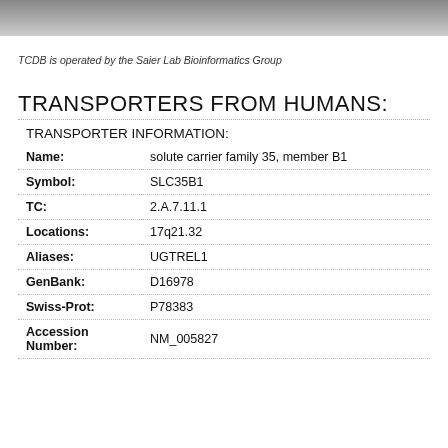TCDB is operated by the Saier Lab Bioinformatics Group
TRANSPORTERS FROM HUMANS:
TRANSPORTER INFORMATION:
| Field | Value |
| --- | --- |
| Name: | solute carrier family 35, member B1 |
| Symbol: | SLC35B1 |
| TC: | 2.A.7.11.1 |
| Locations: | 17q21.32 |
| Aliases: | UGTREL1 |
| GenBank: | D16978 |
| Swiss-Prot: | P78383 |
| Accession Number: | NM_005827 |